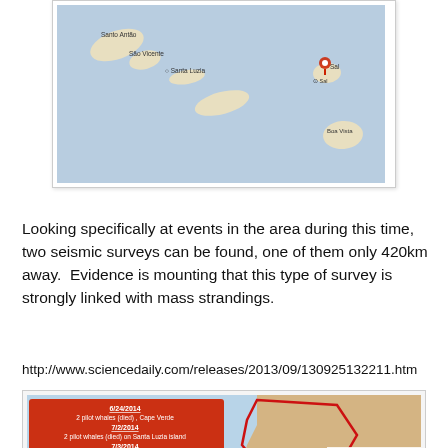[Figure (map): Map showing Cape Verde islands including Santo Antão, São Vicente, Santa Luzia, and Sal island with a red pin marker. Blue ocean background with island shapes in tan/white.]
Looking specifically at events in the area during this time, two seismic surveys can be found, one of them only 420km away.  Evidence is mounting that this type of survey is strongly linked with mass strandings.
http://www.sciencedaily.com/releases/2013/09/130925132211.htm
[Figure (infographic): Infographic showing a map with a red outlined seismic survey zone off the coast of Africa, with a red box listing whale strandings: 6/24/2014 - 2 pilot whales (died), Cape Verde; 7/2/2014 - 2 pilot whales (died) on Santa Luzia island; 7/3/2014 - 12 pilot whales (refloated), 5 dolphins unknown species (died) on Sal Island. Right side shows Seismic Survey details.]